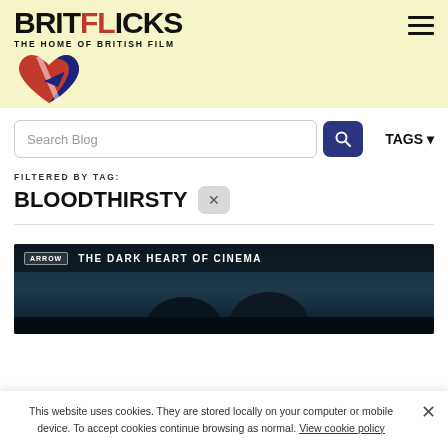[Figure (logo): Britflicks logo — stylized text 'BRITFLICKS' with a British flag heart graphic and subtitle 'THE HOME OF BRITISH FILM']
[Figure (other): Hamburger menu icon (three horizontal bars) in top right corner]
Search Blog
TAGS ▼
FILTERED BY TAG:
BLOODTHIRSTY
[Figure (screenshot): Arrow Films banner image showing 'ARROW — THE DARK HEART OF CINEMA' with dark silhouettes of people below]
This website uses cookies. They are stored locally on your computer or mobile device. To accept cookies continue browsing as normal. View cookie policy